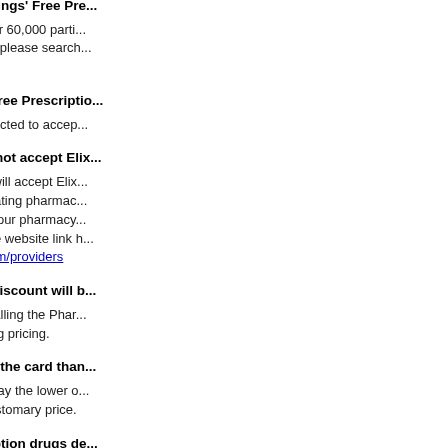Where can I use Elixir Savings' Free Pre...
Your card can be used at over 60,000 parti... find a participating pharmacy please search... 684-0032.
Can I use Elixir Savings' Free Prescriptio...
Yes, if the pharmacy is contracted to accep...
What if my pharmacy will not accept Elix...
All participating pharmacies will accept Elix... use of your card at a participating pharmac... resolve the service issue. If your pharmacy... so, please have them visit the website link h... https://www.elixirsolutions.com/providers
Can you tell me what my discount will b...
Pricing can be provided by calling the Phar... located on our website at drug pricing.
Will I ever pay more using the card than...
No, cardholders will always pay the lower o... the pharmacy's usual and customary price.
How is pricing for prescription drugs de...
Elixir Savings' Free Prescription Drug Card... prescriptions. It allows for unlimited use by... by pharmacy due to differences in both rota...